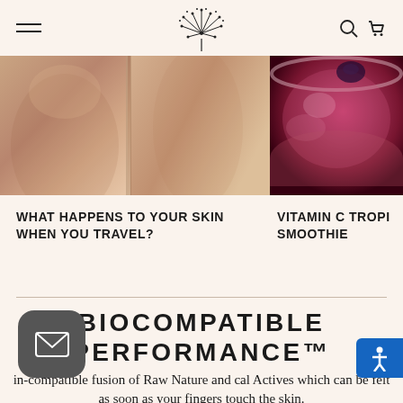Navigation header with hamburger menu, floral logo, search and cart icons
[Figure (photo): Left: close-up photo of bare skin/torso in warm peachy tones; Right: purple-pink smoothie in a bowl from above]
WHAT HAPPENS TO YOUR SKIN WHEN YOU TRAVEL?
VITAMIN C TROPI SMOOTHIE
BIOCOMPATIBLE PERFORMANCE™
in-compatible fusion of Raw Nature and cal Actives which can be felt as soon as your fingers touch the skin.